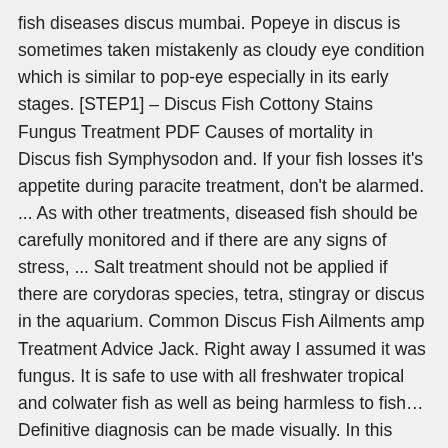fish diseases discus mumbai. Popeye in discus is sometimes taken mistakenly as cloudy eye condition which is similar to pop-eye especially in its early stages. [STEP1] – Discus Fish Cottony Stains Fungus Treatment PDF Causes of mortality in Discus fish Symphysodon and. If your fish losses it's appetite during paracite treatment, don't be alarmed. ... As with other treatments, diseased fish should be carefully monitored and if there are any signs of stress, ... Salt treatment should not be applied if there are corydoras species, tetra, stingray or discus in the aquarium. Common Discus Fish Ailments amp Treatment Advice Jack. Right away I assumed it was fungus. It is safe to use with all freshwater tropical and colwater fish as well as being harmless to fish… Definitive diagnosis can be made visually. In this article, we will try to take a closer look at fish fungus among discus fish – what it looks like, how it … discus health selection care diet diseases. Adding methylene blue to the aquarium will help to fight and to remove INTRODUCTION . treating common discus fish diseases discus fish fan. The diseases mentioned in this article will tell you exactly what to look out for in your fish. Treating your Discus for